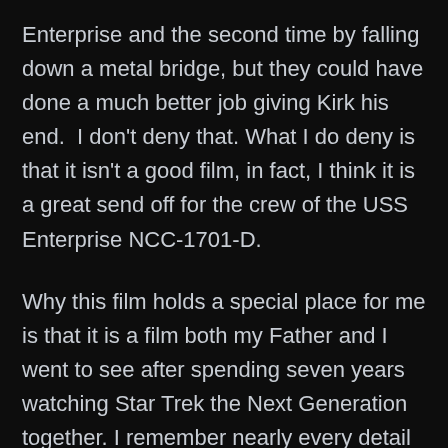Enterprise and the second time by falling down a metal bridge, but they could have done a much better job giving Kirk his end.  I don't deny that. What I do deny is that it isn't a good film, in fact, I think it is a great send off for the crew of the USS Enterprise NCC-1701-D.
Why this film holds a special place for me is that it is a film both my Father and I went to see after spending seven years watching Star Trek the Next Generation together. I remember nearly every detail of that day, from the giant tub of popcorn we got to the watered down taste of the iced Pepsi's Best Premium... What I...